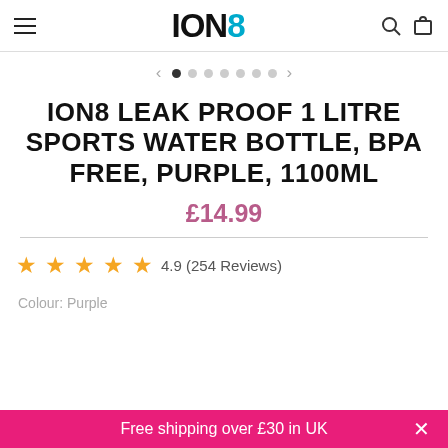ION8
[Figure (screenshot): Image carousel navigation with left arrow, 7 pagination dots (first dot active/filled), and right arrow]
ION8 LEAK PROOF 1 LITRE SPORTS WATER BOTTLE, BPA FREE, PURPLE, 1100ML
£14.99
4.9 (254 Reviews)
Colour: Purple
Free shipping over £30 in UK